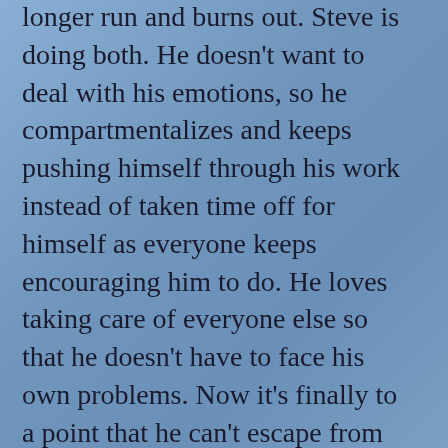longer run and burns out. Steve is doing both. He doesn't want to deal with his emotions, so he compartmentalizes and keeps pushing himself through his work instead of taken time off for himself as everyone keeps encouraging him to do. He loves taking care of everyone else so that he doesn't have to face his own problems. Now it's finally to a point that he can't escape from them anymore.
Finally, I remember 10 years ago when my sister tried to get me to watch some of Alex's other work and I wasn't interested. I told her that as a kid I watched reruns of the